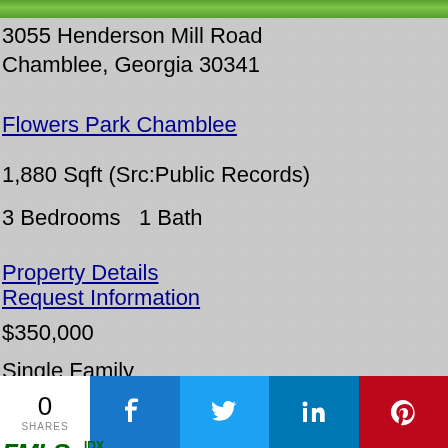[Figure (photo): Green grass strip at top of page]
3055 Henderson Mill Road
Chamblee, Georgia 30341
Flowers Park Chamblee
1,880 Sqft (Src:Public Records)
3 Bedrooms   1 Bath
Property Details
Request Information
$350,000
Single Family
MLS# 7100822
[Figure (logo): FMLS IDX logo in green]
0 SHARES | Facebook | Twitter | LinkedIn | Pinterest